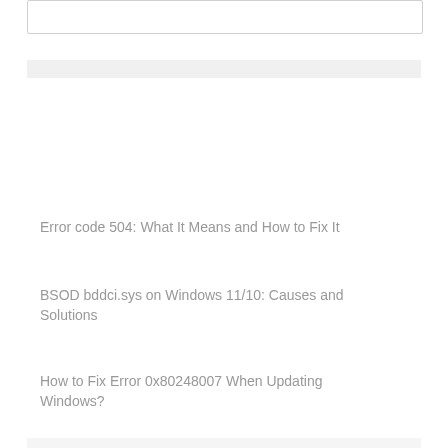Error code 504: What It Means and How to Fix It
BSOD bddci.sys on Windows 11/10: Causes and Solutions
How to Fix Error 0x80248007 When Updating Windows?